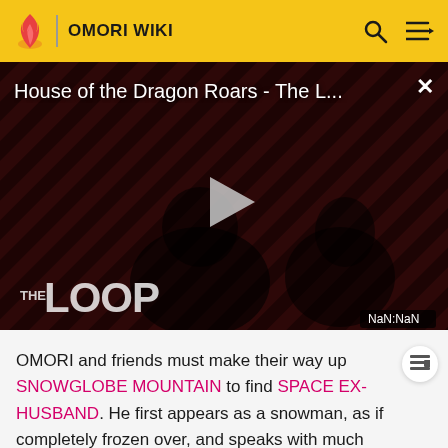OMORI WIKI
[Figure (screenshot): Video thumbnail for 'House of the Dragon Roars - The L...' showing two people in a dark striped background with 'THE LOOP' text overlay, a play button, and NaN:NaN time display]
OMORI and friends must make their way up SNOWGLOBE MOUNTAIN to find SPACE EX-HUSBAND. He first appears as a snowman, as if completely frozen over, and speaks with much more emotionless, monotone words. At first,